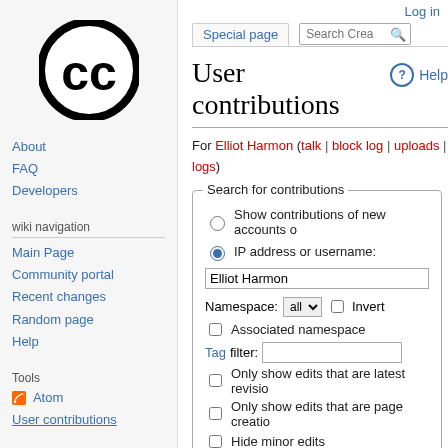[Figure (logo): Creative Commons CC logo — black circle with CC letters inside]
About
FAQ
Developers
wiki navigation
Main Page
Community portal
Recent changes
Random page
Help
Tools
Atom
User contributions
Log in
User contributions
For Elliot Harmon (talk | block log | uploads | logs)
Search for contributions
Show contributions of new accounts only
IP address or username: Elliot Harmon
Namespace: all  Invert
Associated namespace
Tag filter:
Only show edits that are latest revisions
Only show edits that are page creations
Hide minor edits